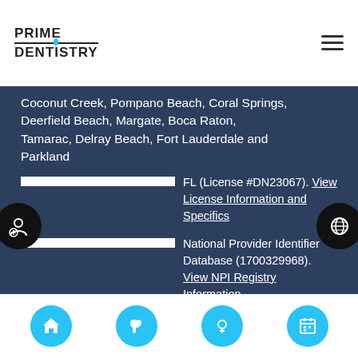PRIME DENTISTRY
Coconut Creek, Pompano Beach, Coral Springs, Deerfield Beach, Margate, Boca Raton, Tamarac, Delray Beach, Fort Lauderdale and Parkland
FL (License #DN23067). View License Information and Specifics
National Provider Identifier Database (1700329968). View NPI Registry Information
Norton Safe Web. View Details
Trend Micro Site Safety Center. View Details